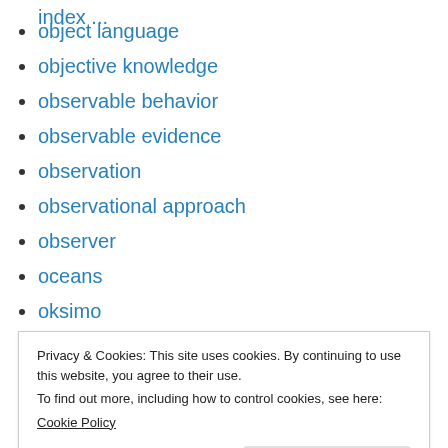object language
objective knowledge
observable behavior
observable evidence
observation
observational approach
observer
oceans
oksimo
oksimo (reloaded) software
Privacy & Cookies: This site uses cookies. By continuing to use this website, you agree to their use.
To find out more, including how to control cookies, see here: Cookie Policy
oksimo theory